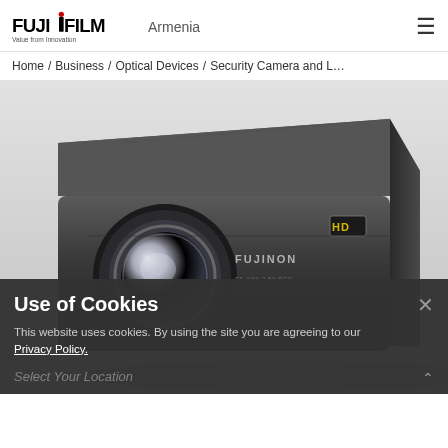FUJIFILM Value from Innovation | Armenia | [hamburger menu]
Home / Business / Optical Devices / Security Camera and L…
[Figure (photo): A Fujinon HD security camera lens (large black box-style telephoto/zoom lens with circular front element) positioned at an angle showing the front and top, with FUJINON branding and HD badge visible on the body.]
Use of Cookies
This website uses cookies. By using the site you are agreeing to our Privacy Policy.
Select Your Location